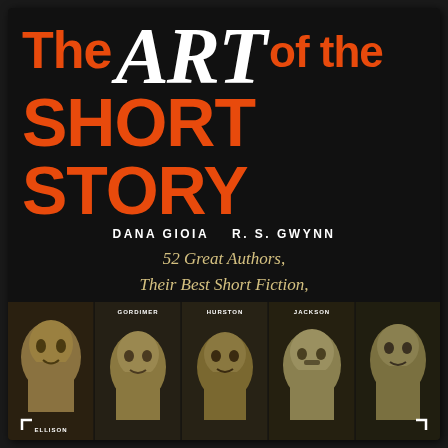The ART of the SHORT STORY
DANA GIOIA   R. S. GWYNN
52 Great Authors, Their Best Short Fiction, and Their Insights on Writing
[Figure (photo): Book cover with five sepia-toned portrait photos of authors at the bottom: Ellison, Gordimer, Hurston, Jackson, and one more author. The cover has a black background with the title in large red and white text.]